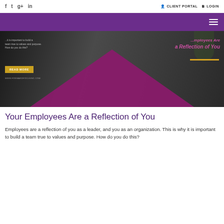f  t  g+  in  |  CLIENT PORTAL  LOGIN
[Figure (screenshot): Purple website header band with hamburger menu icon on the right]
[Figure (photo): Hero banner image showing business people in a meeting, with text 'Your Employees Are a Reflection of You', a gold underline, a READ MORE button, and a large purple triangular shape overlaid at the bottom]
Your Employees Are a Reflection of You
Employees are a reflection of you as a leader, and you as an organization. This is why it is important to build a team true to values and purpose. How do you do this?